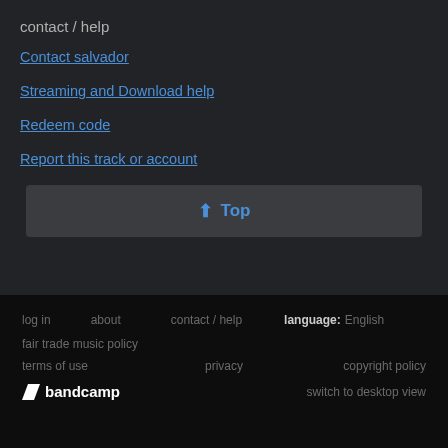contact / help
Contact salvador
Streaming and Download help
Redeem code
Report this track or account
⬆ Top
log in   about   contact / help   language:  English   fair trade music policy   terms of use   privacy   copyright policy   bandcamp   switch to desktop view